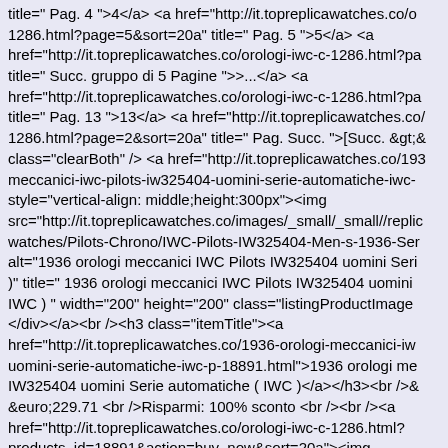title=" Pag. 4 ">4</a> <a href="http://it.topreplicawatches.co/o 1286.html?page=5&sort=20a" title=" Pag. 5 ">5</a> <a href="http://it.topreplicawatches.co/orologi-iwc-c-1286.html?pa title=" Succ. gruppo di 5 Pagine ">...</a> <a href="http://it.topreplicawatches.co/orologi-iwc-c-1286.html?pa title=" Pag. 13 ">13</a> <a href="http://it.topreplicawatches.co/ 1286.html?page=2&sort=20a" title=" Pag. Succ. ">[Succ. &gt;& class="clearBoth" /> <a href="http://it.topreplicawatches.co/193 meccanici-iwc-pilots-iw325404-uomini-serie-automatiche-iwc- style="vertical-align: middle;height:300px"><img src="http://it.topreplicawatches.co/images/_small/_small//replic watches/Pilots-Chrono/IWC-Pilots-IW325404-Men-s-1936-Ser alt="1936 orologi meccanici IWC Pilots IW325404 uomini Seri )" title=" 1936 orologi meccanici IWC Pilots IW325404 uomini IWC ) " width="200" height="200" class="listingProductImage </div></a><br /><h3 class="itemTitle"><a href="http://it.topreplicawatches.co/1936-orologi-meccanici-iw uomini-serie-automatiche-iwc-p-18891.html">1936 orologi me IW325404 uomini Serie automatiche ( IWC )</a></h3><br />&  &euro;229.71 <br />Risparmi: 100% sconto <br /><br /><a href="http://it.topreplicawatches.co/orologi-iwc-c-1286.html? products_id=18891&action=buy_now&sort=20a"><img src="http://it.topreplicawatches.co/includes/templates/polo/butt alt="Acquista" title=" Acquista " width="60" height="15" class="listingBuyNowButton" /></a><br /><br /> <a